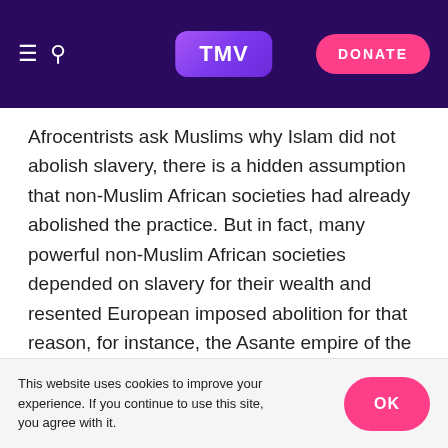TMV | DONATE
Afrocentrists ask Muslims why Islam did not abolish slavery, there is a hidden assumption that non-Muslim African societies had already abolished the practice. But in fact, many powerful non-Muslim African societies depended on slavery for their wealth and resented European imposed abolition for that reason, for instance, the Asante empire of the eighteenth and nineteenth centuries.
Abolition as an ethical dilemma only occurs because we inhabit a very different time from the early Muslims, as
This website uses cookies to improve your experience. If you continue to use this site, you agree with it. OK